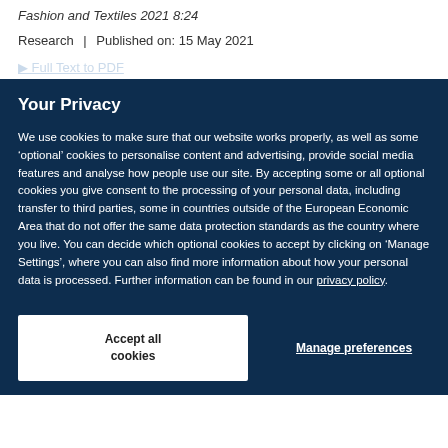Fashion and Textiles 2021 8:24
Research | Published on: 15 May 2021
Full Text to PDF
Your Privacy
We use cookies to make sure that our website works properly, as well as some ‘optional’ cookies to personalise content and advertising, provide social media features and analyse how people use our site. By accepting some or all optional cookies you give consent to the processing of your personal data, including transfer to third parties, some in countries outside of the European Economic Area that do not offer the same data protection standards as the country where you live. You can decide which optional cookies to accept by clicking on ‘Manage Settings’, where you can also find more information about how your personal data is processed. Further information can be found in our privacy policy.
Accept all cookies
Manage preferences